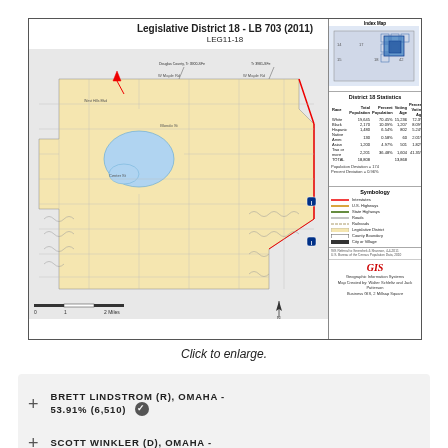[Figure (map): Legislative District 18 - LB 703 (2011), LEG11-18. A GIS map showing the district boundaries in Omaha area, with an index map inset, district statistics table, symbology legend, and GIS branding. The district is shown in tan/beige shading with street grids, a blue lake, and red eastern boundary.]
Click to enlarge.
BRETT LINDSTROM (R), OMAHA - 53.91% (6,510) ✓
SCOTT WINKLER (D), OMAHA -